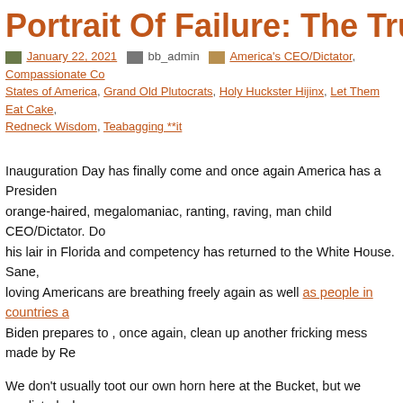Portrait Of Failure: The Trump Revo…
January 22, 2021  bb_admin  America's CEO/Dictator, Compassionate Co…, States of America, Grand Old Plutocrats, Holy Huckster Hijinx, Let Them Eat Cake, Redneck Wisdom, Teabagging **it
Inauguration Day has finally come and once again America has a President… orange-haired, megalomaniac, ranting, raving, man child CEO/Dictator. Do… his lair in Florida and competency has returned to the White House. Sane, loving Americans are breathing freely again as well as people in countries a… Biden prepares to , once again, clean up another fricking mess made by Re…
We don't usually toot our own horn here at the Bucket, but we predicted wh… revolution led by Trump might look like back in our post of November 17, 20… Donald Trump started whining about how Mitt Romney was robbed, thus la… Republican claims of election fraud in the future. Trump, who was a Tea Pa… that time, also threatened to run for President which prompted our photo-to… below) showing the complete ridiculousness of the prospect of a Trump pre… Teabagger/future MAGA warriors onward to a glorious conservative revolut… luxurious CEO chair stroking his hair and his massive . . . ego.
Unfortunately for the world, Trump unbelievably became President in 2016… out to be every bit as catastrophic as people thought it would be, culminating…